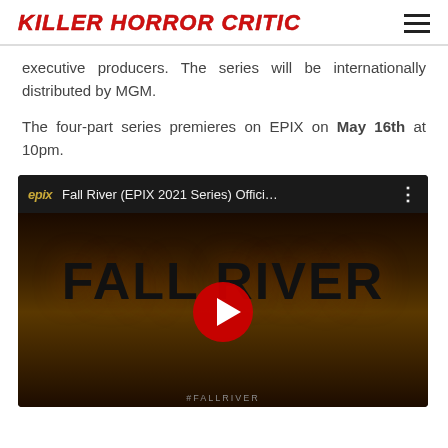KILLER HORROR CRITIC
executive producers. The series will be internationally distributed by MGM.
The four-part series premieres on EPIX on May 16th at 10pm.
[Figure (screenshot): YouTube video embed thumbnail for 'Fall River (EPIX 2021 Series) Offici...' showing the FALL RIVER title text in dark moody lighting with a YouTube play button overlay and #FALLRIVER hashtag at the bottom. The epix logo and video title appear in the top bar.]